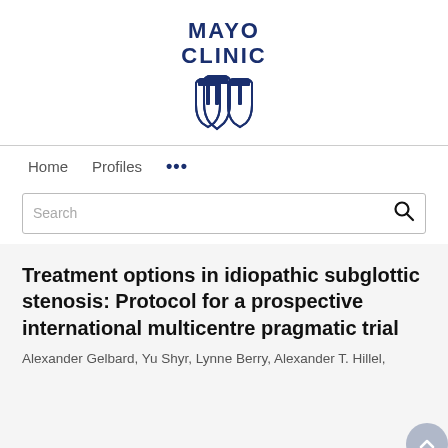[Figure (logo): Mayo Clinic logo with text MAYO CLINIC and a shield/torch emblem in dark navy blue]
Home  Profiles  ...
Search
Treatment options in idiopathic subglottic stenosis: Protocol for a prospective international multicentre pragmatic trial
Alexander Gelbard, Yu Shyr, Lynne Berry, Alexander T. Hillel,